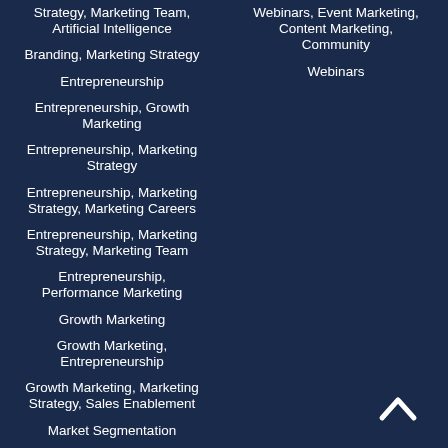Strategy, Marketing Team, Artificial Intelligence
Webinars, Event Marketing, Content Marketing, Community
Branding, Marketing Strategy
Webinars
Entrepreneurship
Entrepreneurship, Growth Marketing
Entrepreneurship, Marketing Strategy
Entrepreneurship, Marketing Strategy, Marketing Careers
Entrepreneurship, Marketing Strategy, Marketing Team
Entrepreneurship, Performance Marketing
Growth Marketing
Growth Marketing, Entrepreneurship
Growth Marketing, Marketing Strategy, Sales Enablement
Market Segmentation
Marketing Attribution
Marketing Attribution,